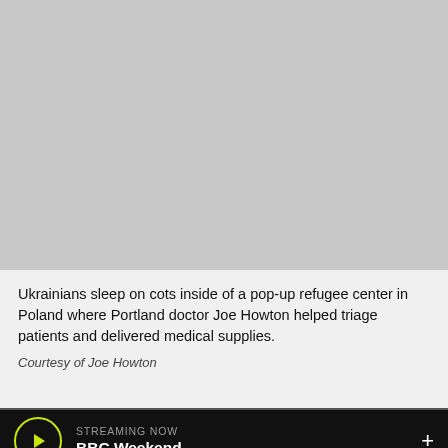[Figure (photo): Ukrainians sleeping on cots inside a pop-up refugee center in Poland]
Ukrainians sleep on cots inside of a pop-up refugee center in Poland where Portland doctor Joe Howton helped triage patients and delivered medical supplies.
Courtesy of Joe Howton
STREAMING NOW
BBC Weekend